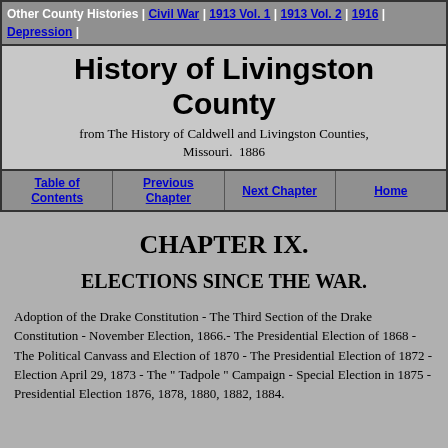Other County Histories | Civil War | 1913 Vol. 1 | 1913 Vol. 2 | 1916 | Depression |
History of Livingston County
from The History of Caldwell and Livingston Counties, Missouri.  1886
Table of Contents | Previous Chapter | Next Chapter | Home
CHAPTER IX.
ELECTIONS SINCE THE WAR.
Adoption of the Drake Constitution - The Third Section of the Drake Constitution - November Election, 1866.- The Presidential Election of 1868 - The Political Canvass and Election of 1870 - The Presidential Election of 1872 - Election April 29, 1873 - The " Tadpole " Campaign - Special Election in 1875 - Presidential Election 1876, 1878, 1880, 1882, 1884.